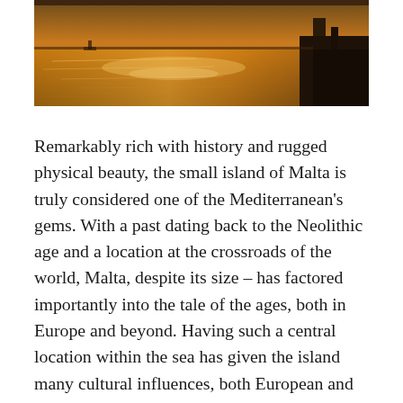[Figure (photo): A photograph of a waterfront scene at golden hour, showing a body of water reflecting warm amber and orange tones, with a wooden structure or pier visible on the right side.]
Remarkably rich with history and rugged physical beauty, the small island of Malta is truly considered one of the Mediterranean's gems. With a past dating back to the Neolithic age and a location at the crossroads of the world, Malta, despite its size – has factored importantly into the tale of the ages, both in Europe and beyond. Having such a central location within the sea has given the island many cultural influences, both European and Arabian. However, over the centuries a distinct and charming Maltese culture has certainly emerged, and there is no better way to absorb